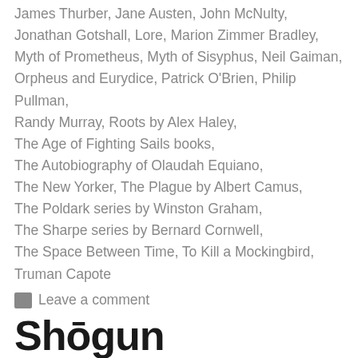James Thurber, Jane Austen, John McNulty, Jonathan Gotshall, Lore, Marion Zimmer Bradley, Myth of Prometheus, Myth of Sisyphus, Neil Gaiman, Orpheus and Eurydice, Patrick O'Brien, Philip Pullman, Randy Murray, Roots by Alex Haley, The Age of Fighting Sails books, The Autobiography of Olaudah Equiano, The New Yorker, The Plague by Albert Camus, The Poldark series by Winston Graham, The Sharpe series by Bernard Cornwell, The Space Between Time, To Kill a Mockingbird, Truman Capote
Leave a comment
Shōgun